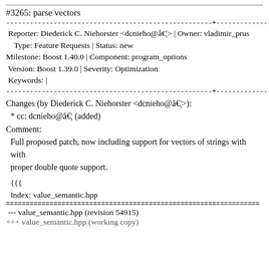#3265: parse vectors
Reporter: Diederick C. Niehorster <dcnieho@â€¦> | Owner: vladimir_prus
    Type: Feature Requests | Status: new
Milestone: Boost 1.40.0 | Component: program_options
  Version: Boost 1.39.0 | Severity: Optimization
  Keywords: |
Changes (by Diederick C. Niehorster <dcnieho@â€¦>):
* cc: dcnieho@â€¦ (added)
Comment:
Full proposed patch, now including support for vectors of strings with
 proper double quote support.
{{{
Index: value_semantic.hpp
==============================
--- value_semantic.hpp (revision 54915)